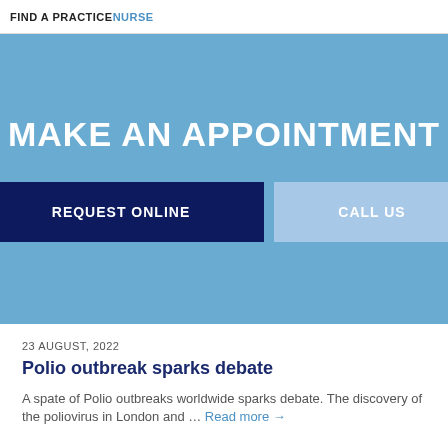FIND A PRACTICE NURSE
MAKE AN APPOINTMENT
REQUEST ONLINE
CALL US
23 AUGUST, 2022
Polio outbreak sparks debate
A spate of Polio outbreaks worldwide sparks debate. The discovery of the poliovirus in London and … Read more →